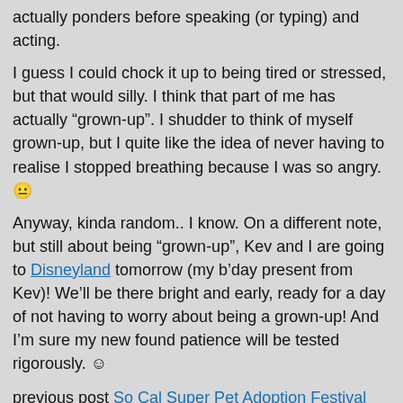actually ponders before speaking (or typing) and acting.
I guess I could chock it up to being tired or stressed, but that would silly. I think that part of me has actually “grown-up”. I shudder to think of myself grown-up, but I quite like the idea of never having to realise I stopped breathing because I was so angry. 😐
Anyway, kinda random.. I know. On a different note, but still about being “grown-up”, Kev and I are going to Disneyland tomorrow (my b’day present from Kev)! We’ll be there bright and early, ready for a day of not having to worry about being a grown-up! And I’m sure my new found patience will be tested rigorously. ☺
previous post So Cal Super Pet Adoption Festival
next post Disneyland Day
Leave a Reply
Your email address will not be published. Required fields